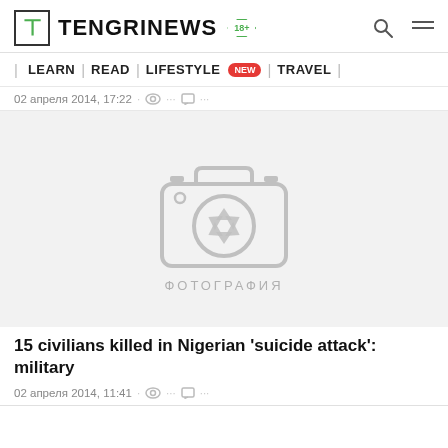TENGRINEWS 18+
| LEARN | READ | LIFESTYLE NEW | TRAVEL |
02 апреля 2014, 17:22 · © ··· □ ···
[Figure (photo): Placeholder image with camera icon and text ФОТОГРАФИЯ]
15 civilians killed in Nigerian 'suicide attack': military
02 апреля 2014, 11:41 · © ··· □ ···